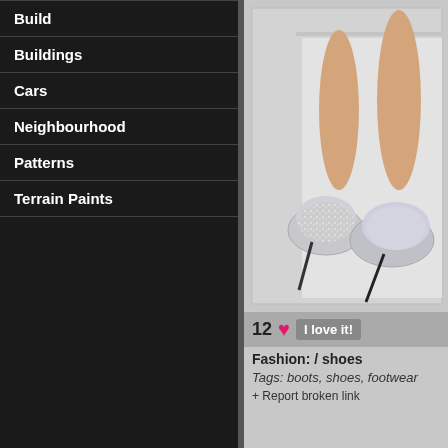Build
Buildings
Cars
Neighbourhood
Patterns
Terrain Paints
[Figure (photo): Product photo of glittery silver high-heel shoes on a light gray background with a framed display layout]
12 ♥ I love it!
Fashion: / shoes
Tags: boots, shoes, footwear
+ Report broken link